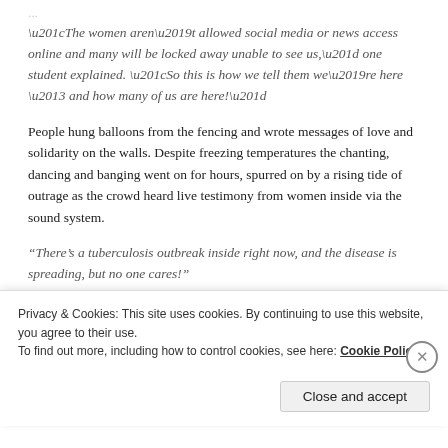“The women aren’t allowed social media or news access online and many will be locked away unable to see us,” one student explained. “So this is how we tell them we’re here – and how many of us are here!”
People hung balloons from the fencing and wrote messages of love and solidarity on the walls. Despite freezing temperatures the chanting, dancing and banging went on for hours, spurred on by a rising tide of outrage as the crowd heard live testimony from women inside via the sound system.
“There’s a tuberculosis outbreak inside right now, and the disease is spreading, but no one cares!”
Privacy & Cookies: This site uses cookies. By continuing to use this website, you agree to their use.
To find out more, including how to control cookies, see here: Cookie Policy
Close and accept